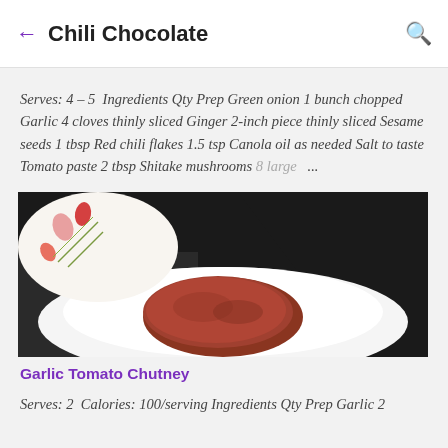← Chili Chocolate 🔍
Serves: 4 – 5  Ingredients Qty Prep Green onion 1 bunch chopped Garlic 4 cloves thinly sliced Ginger 2-inch piece thinly sliced Sesame seeds 1 tbsp Red chili flakes 1.5 tsp Canola oil as needed Salt to taste Tomato paste 2 tbsp Shitake mushrooms 8 large ...
[Figure (photo): Photo of a brown chutney or sauce served on a white plate, with a decorative floral plate and dark background visible.]
Garlic Tomato Chutney
Serves: 2  Calories: 100/serving Ingredients Qty Prep Garlic 2